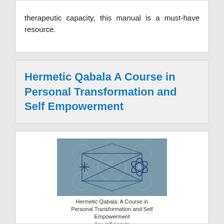therapeutic capacity, this manual is a must-have resource.
Hermetic Qabala A Course in Personal Transformation and Self Empowerment
[Figure (photo): Book cover image for 'Hermetic Qabala: A Course in Personal Transformation and Self Empowerment' by Rev. Jeff Kincade, showing a teal/grey background with geometric circle and line patterns. Below the cover image, the title and author text are displayed. A second partial cover image appears below.]